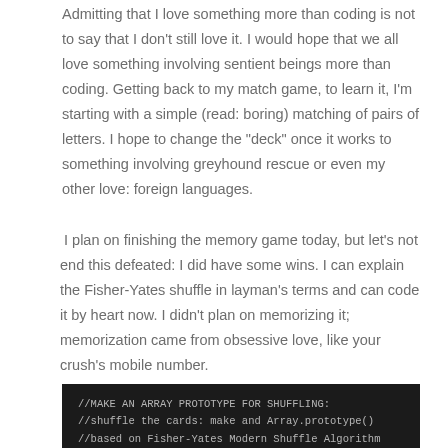Admitting that I love something more than coding is not to say that I don't still love it. I would hope that we all love something involving sentient beings more than coding. Getting back to my match game, to learn it, I'm starting with a simple (read: boring) matching of pairs of letters. I hope to change the "deck" once it works to something involving greyhound rescue or even my other love: foreign languages.
I plan on finishing the memory game today, but let's not end this defeated: I did have some wins. I can explain the Fisher-Yates shuffle in layman's terms and can code it by heart now. I didn't plan on memorizing it; memorization came from obsessive love, like your crush's mobile number.
[Figure (screenshot): Dark code editor screenshot showing JavaScript comments about making an array prototype for shuffling using the Fisher-Yates Modern Shuffle Algorithm]